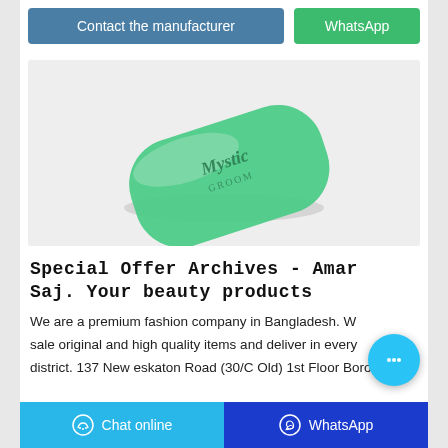Contact the manufacturer | WhatsApp
[Figure (photo): A green bar of Mystic soap on a white/light grey background]
Special Offer Archives - Amar Saj. Your beauty products
We are a premium fashion company in Bangladesh. We sale original and high quality items and deliver in every district. 137 New eskaton Road (30/C Old) 1st Floor Boro
Chat online | WhatsApp